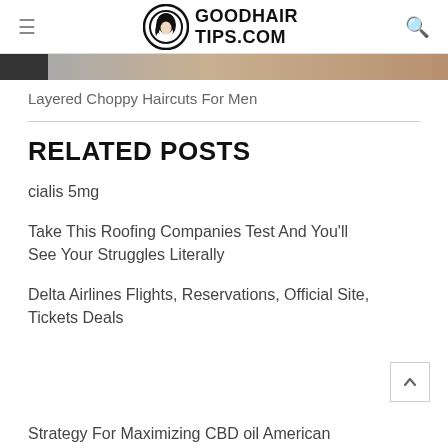GOODHAIR TIPS.COM
[Figure (photo): Partial view of a hair image strip at the top of the content area]
Layered Choppy Haircuts For Men
RELATED POSTS
cialis 5mg
Take This Roofing Companies Test And You'll See Your Struggles Literally
Delta Airlines Flights, Reservations, Official Site, Tickets Deals
Strategy For Maximizing CBD oil American